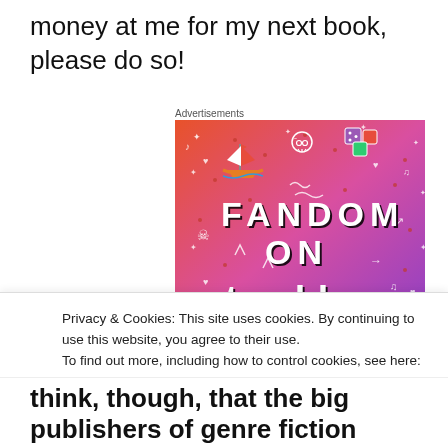money at me for my next book, please do so!
Advertisements
[Figure (illustration): Colorful advertisement for 'Fandom on Tumblr' — gradient background from orange to purple with white doodles (skulls, music notes, dice, arrows, hearts, boat), bold block letters reading FANDOM ON tumblr]
Privacy & Cookies: This site uses cookies. By continuing to use this website, you agree to their use.
To find out more, including how to control cookies, see here: Cookie Policy
think, though, that the big publishers of genre fiction